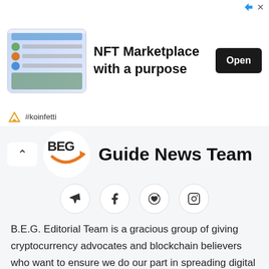[Figure (screenshot): Ad banner for NFT Marketplace with a purpose showing app screenshot, Open button, and #koinfetti branding]
[Figure (logo): B.E.G. logo — orange arrow with BEG text]
Guide News Team
[Figure (infographic): Social media icons: Telegram, Facebook, Reddit, Instagram]
B.E.G. Editorial Team is a gracious group of giving cryptocurrency advocates and blockchain believers who want to ensure we do our part in spreading digital currency awareness and adoption. We are a team of over forty individuals all working as a collective whole to produce around the clock daily news, reviews and insights regarding all major coin updates, token announcements and new releases. Make sure to read our editorial policies and follow us on Twitter, Join us in Telegram, Stay tuned.